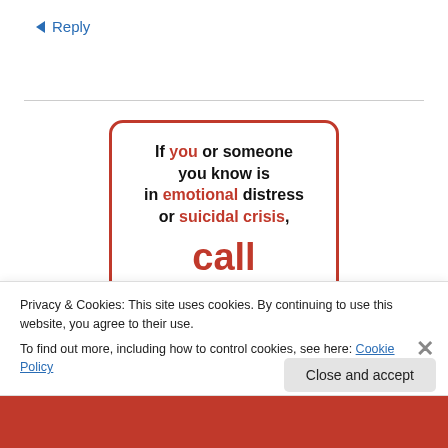↵ Reply
[Figure (infographic): Crisis hotline card: 'If you or someone you know is in emotional distress or suicidal crisis, call 1-800-273-TALK (8255). National Suicide Prevention Lifeline']
Privacy & Cookies: This site uses cookies. By continuing to use this website, you agree to their use.
To find out more, including how to control cookies, see here: Cookie Policy
Close and accept